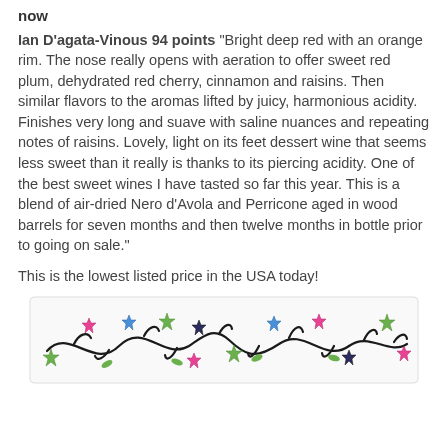now
Ian D'agata-Vinous 94 points “Bright deep red with an orange rim. The nose really opens with aeration to offer sweet red plum, dehydrated red cherry, cinnamon and raisins. Then similar flavors to the aromas lifted by juicy, harmonious acidity. Finishes very long and suave with saline nuances and repeating notes of raisins. Lovely, light on its feet dessert wine that seems less sweet than it really is thanks to its piercing acidity. One of the best sweet wines I have tasted so far this year. This is a blend of air-dried Nero d’Avola and Perricone aged in wood barrels for seven months and then twelve months in bottle prior to going on sale.”
This is the lowest listed price in the USA today!
[Figure (illustration): Decorative floral vine border with colorful star-shaped flowers in green, pink, purple, and blue on black curling vines]